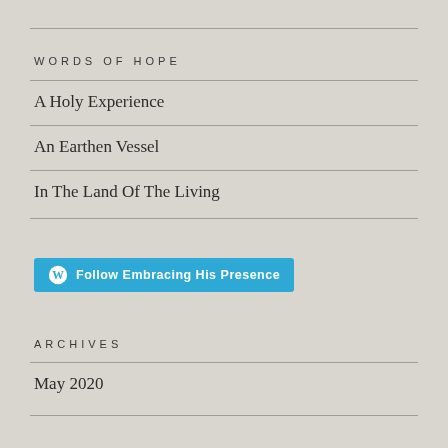WORDS OF HOPE
A Holy Experience
An Earthen Vessel
In The Land Of The Living
[Figure (other): Blue button with WordPress logo icon and text 'Follow Embracing His Presence']
ARCHIVES
May 2020